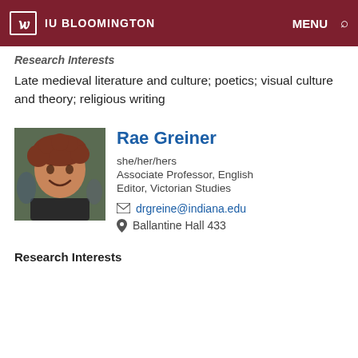IU BLOOMINGTON  MENU  🔍
Research Interests
Late medieval literature and culture; poetics; visual culture and theory; religious writing
[Figure (photo): Headshot photo of Rae Greiner, a woman with curly reddish-brown hair, smiling outdoors.]
Rae Greiner
she/her/hers
Associate Professor, English
Editor, Victorian Studies
drgreine@indiana.edu
Ballantine Hall 433
Research Interests